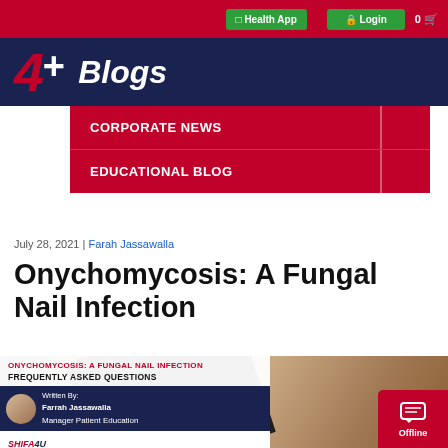Health App | Login | 0
[Figure (logo): 4+ Blogs logo on dark blue background]
CORPORATE NEWS
EDUCATIONAL BLOG
July 28, 2021 | Farah Jassawalla
Onychomycosis: A Fungal Nail Infection
[Figure (photo): Close-up photo of a hand with fungal nail infection (onychomycosis), with overlay card showing article title ONYCHOMYCOSIS: A FUNGAL NAIL INFECTION, FREQUENTLY ASKED QUESTIONS, Written By: Farrah Jassawalla, Manager Patient Education, Shifa4U logo]